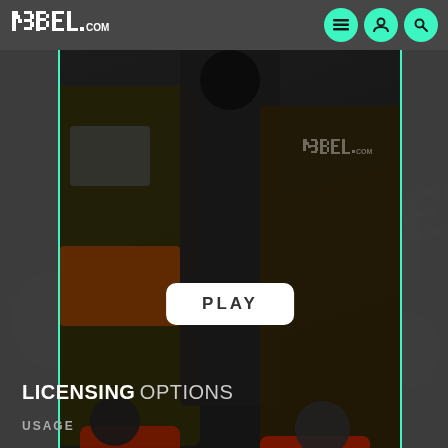[Figure (screenshot): R3BEL.com website screenshot showing a video player interface with a dark background, teal/cyan colored navigation icons (menu, user, search), a video card with a scene of people in red jackets, a white PLAY button overlay, teal action icons at the bottom of the video card, and a 'LICENSING OPTIONS' heading with 'USAGE' subheading below.]